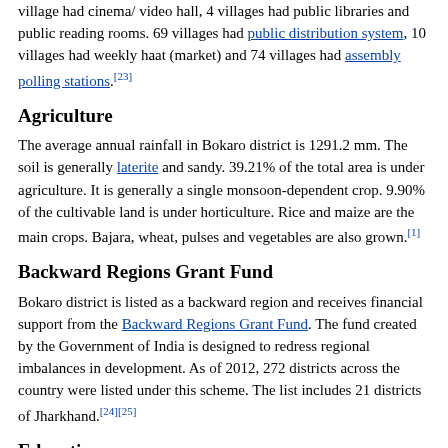village had cinema/ video hall, 4 villages had public libraries and public reading rooms. 69 villages had public distribution system, 10 villages had weekly haat (market) and 74 villages had assembly polling stations.[23]
Agriculture
The average annual rainfall in Bokaro district is 1291.2 mm. The soil is generally laterite and sandy. 39.21% of the total area is under agriculture. It is generally a single monsoon-dependent crop. 9.90% of the cultivable land is under horticulture. Rice and maize are the main crops. Bajara, wheat, pulses and vegetables are also grown.[1]
Backward Regions Grant Fund
Bokaro district is listed as a backward region and receives financial support from the Backward Regions Grant Fund. The fund created by the Government of India is designed to redress regional imbalances in development. As of 2012, 272 districts across the country were listed under this scheme. The list includes 21 districts of Jharkhand.[24][25]
Education